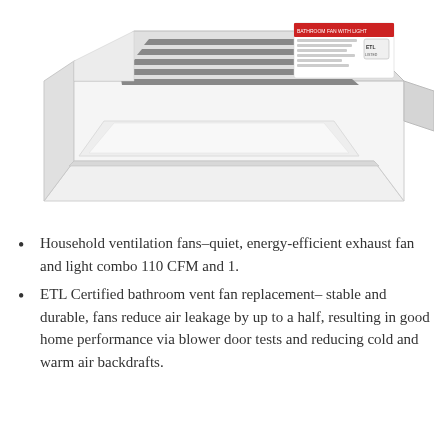[Figure (photo): A white ceiling-mounted bathroom exhaust fan with light combo unit, shown from a low angle perspective. The unit has a rectangular white housing with ventilation grilles. A product label with red text and ETL certification mark is visible on top.]
Household ventilation fans–quiet, energy-efficient exhaust fan and light combo 110 CFM and 1.
ETL Certified bathroom vent fan replacement– stable and durable, fans reduce air leakage by up to a half, resulting in good home performance via blower door tests and reducing cold and warm air backdrafts.